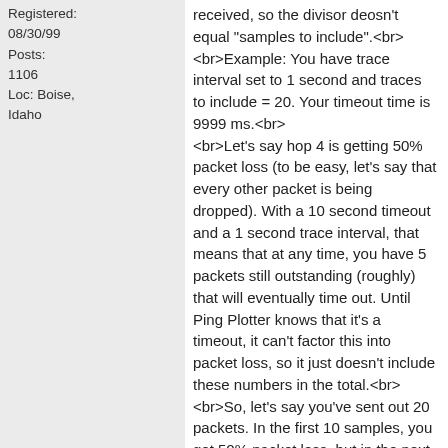Registered: 08/30/99
Posts: 1106
Loc: Boise, Idaho
received, so the divisor deosn't equal "samples to include".<br><br>Example: You have trace interval set to 1 second and traces to include = 20. Your timeout time is 9999 ms.<br><br>Let's say hop 4 is getting 50% packet loss (to be easy, let's say that every other packet is being dropped). With a 10 second timeout and a 1 second trace interval, that means that at any time, you have 5 packets still outstanding (roughly) that will eventually time out. Until Ping Plotter knows that it's a timeout, it can't factor this into packet loss, so it just doesn't include these numbers in the total.<br><br>So, let's say you've sent out 20 packets. In the first 10 samples, you got 50% packet loss, but in the next 10 samples, there are still 5 packets that haven't responded yet (and there are 5 that have). This means Ping Plotter is only going to use 15 samples for the